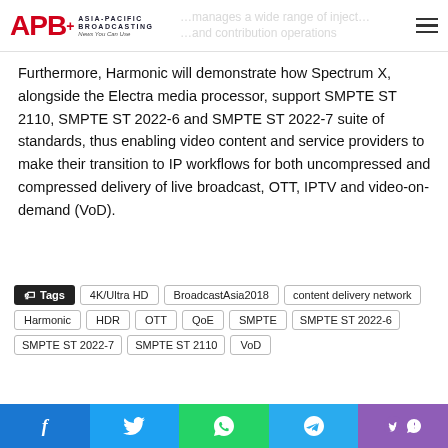APB+ Asia-Pacific Broadcasting — News You Can Use
Furthermore, Harmonic will demonstrate how Spectrum X, alongside the Electra media processor, support SMPTE ST 2110, SMPTE ST 2022-6 and SMPTE ST 2022-7 suite of standards, thus enabling video content and service providers to make their transition to IP workflows for both uncompressed and compressed delivery of live broadcast, OTT, IPTV and video-on-demand (VoD).
Tags: 4K/Ultra HD, BroadcastAsia2018, content delivery network, Harmonic, HDR, OTT, QoE, SMPTE, SMPTE ST 2022-6, SMPTE ST 2022-7, SMPTE ST 2110, VoD
Facebook, Twitter, WhatsApp, Telegram, Viber share buttons